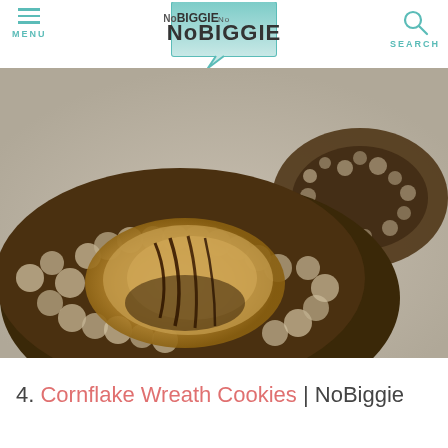MENU | NoBIGGIE | SEARCH
[Figure (photo): Close-up photo of cornflake wreath cookies coated in chocolate and caramel drizzle on a gray background]
4. Cornflake Wreath Cookies | NoBiggie